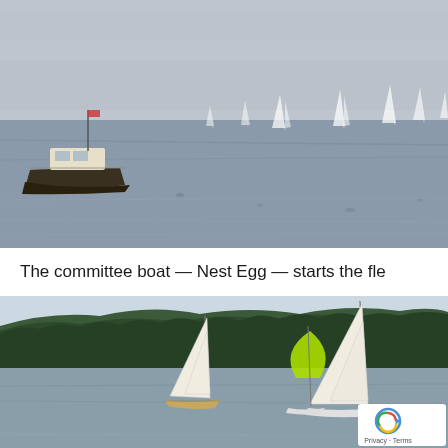[Figure (photo): A power boat (committee boat Nest Egg) on grey water with several sailboats visible in the background, partial view cropped at top]
The committee boat — Nest Egg — starts the fle
[Figure (photo): Three sailboats racing on calm grey water with a forested hillside in the background; one boat has a bright yellow-green spinnaker; recaptcha badge visible at lower right]